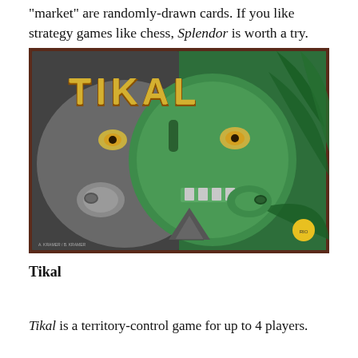"market" are randomly-drawn cards. If you like strategy games like chess, Splendor is worth a try.
[Figure (photo): Photo of the Tikal board game box lying on a wooden table. The box cover shows a large green Mayan stone mask face with glowing eyes, stylized foliage, a stepped pyramid in the background, and the word TIKAL in large orange and metallic letters across the top.]
Tikal
Tikal is a territory-control game for up to 4 players.